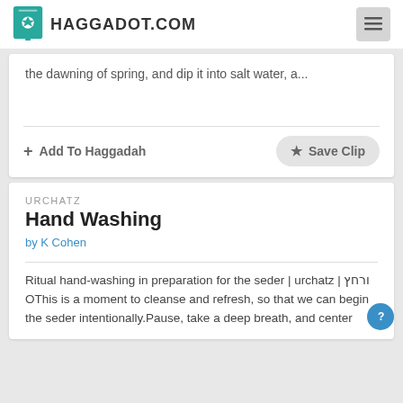HAGGADOT.COM
the dawning of spring, and dip it into salt water, a...
+ Add To Haggadah
★ Save Clip
URCHATZ
Hand Washing
by K Cohen
Ritual hand-washing in preparation for the seder | urchatz | ורחץ OThis is a moment to cleanse and refresh, so that we can begin the seder intentionally.Pause, take a deep breath, and center